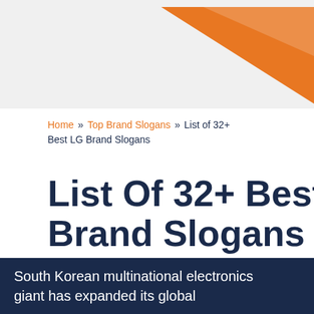[Figure (illustration): Decorative header graphic with orange triangle/chevron shape on light grey background]
Home » Top Brand Slogans » List of 32+ Best LG Brand Slogans
List Of 32+ Best LG Brand Slogans
Formerly known as Goldstar, since its inception in 1958 till 2002 when the company changed its name to LG, the South Korean multinational electronics giant has expanded its global